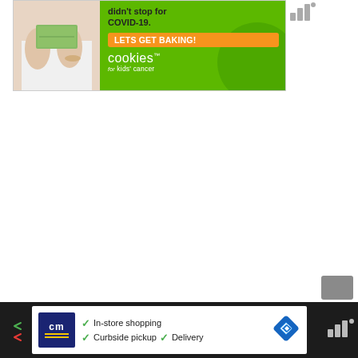[Figure (infographic): Advertisement banner for 'Cookies for Kids Cancer' charity. Shows a person holding money on the left side against a green background. Text reads 'didn't stop for COVID-19.' with an orange button 'LETS GET BAKING!' and the 'cookies for kids' cancer' logo in white text on green.]
[Figure (infographic): Advertisement banner for a store (CM logo in dark blue with yellow lines). Shows checkmarks with text: 'In-store shopping', 'Curbside pickup', 'Delivery'. Blue diamond-shaped navigation icon on the right.]